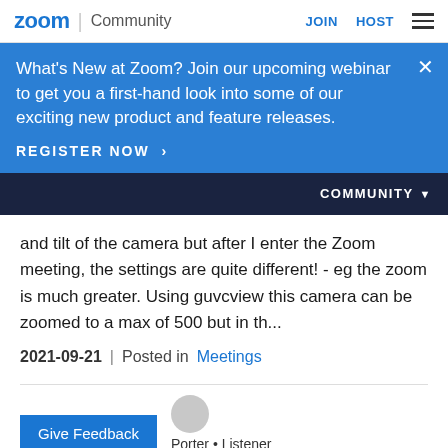zoom | Community     JOIN   HOST
What's New at Zoom? Join our upcoming webinar to get you a first-hand look into some of our exciting new product and feature releases.
REGISTER NOW >
COMMUNITY
and tilt of the camera but after I enter the Zoom meeting, the settings are quite different! - eg the zoom is much greater. Using guvcview this camera can be zoomed to a max of 500 but in th...
2021-09-21   |   Posted in Meetings
Give Feedback
Porter • Listener